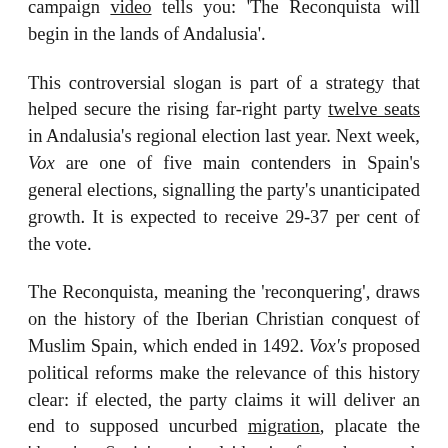campaign video tells you: 'The Reconquista will begin in the lands of Andalusia'.
This controversial slogan is part of a strategy that helped secure the rising far-right party twelve seats in Andalusia's regional election last year. Next week, Vox are one of five main contenders in Spain's general elections, signalling the party's unanticipated growth. It is expected to receive 29-37 per cent of the vote.
The Reconquista, meaning the 'reconquering', draws on the history of the Iberian Christian conquest of Muslim Spain, which ended in 1492. Vox's proposed political reforms make the relevance of this history clear: if elected, the party claims it will deliver an end to supposed uncurbed migration, placate the 'threat' to Spain's national identity from the growth of Islam, end state-funded abortion and